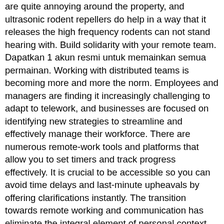are quite annoying around the property, and ultrasonic rodent repellers do help in a way that it releases the high frequency rodents can not stand hearing with. Build solidarity with your remote team. Dapatkan 1 akun resmi untuk memainkan semua permainan. Working with distributed teams is becoming more and more the norm. Employees and managers are finding it increasingly challenging to adapt to telework, and businesses are focused on identifying new strategies to streamline and effectively manage their workforce. There are numerous remote-work tools and platforms that allow you to set timers and track progress effectively. It is crucial to be accessible so you can avoid time delays and last-minute upheavals by offering clarifications instantly. The transition towards remote working and communication has eliminate the integral element of personal context and interaction. The transition towards remote working and communication has eliminate the integral element of personal context and interaction. But with a mission-driven approach and effective technology, a productive remote work strategy can really pay off. Required fields are marked *. As long as they are meeting their deadlines, allow them to create their own schedule. In fact, studies show nearly 40% of … The Health and Safety Executive has created a. Download your Remote Working Success Kit! Ensure you have all the equipment and stationary you need … Working remotely… successfully. Over-communication can be a good thing – sending project updates more regularly than you usually would, making sure that you have regular meetings in the diary, talking about outcomes so everybody knows how things are tracking. All it takes is a great WiFi connection. Solidify team logistics. Resolving work-related challenges can prove increasingly tough, but managers can